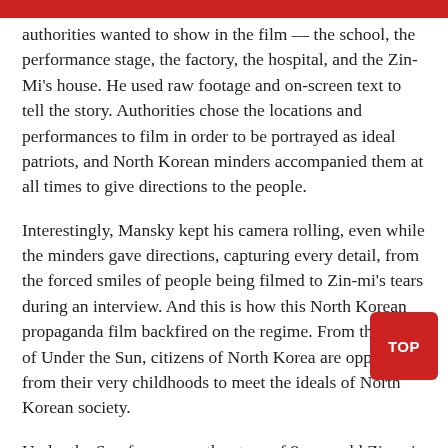authorities wanted to show in the film — the school, the performance stage, the factory, the hospital, and the Zin-Mi's house. He used raw footage and on-screen text to tell the story. Authorities chose the locations and performances to film in order to be portrayed as ideal patriots, and North Korean minders accompanied them at all times to give directions to the people.
Interestingly, Mansky kept his camera rolling, even while the minders gave directions, capturing every detail, from the forced smiles of people being filmed to Zin-mi's tears during an interview. And this is how this North Korean propaganda film backfired on the regime. From the looks of Under the Sun, citizens of North Korea are oppressed from their very childhoods to meet the ideals of North Korean society.
Under the Sun focuses on the story of 8-year-old Zin-mi, who recently became a member of the Korean Children's U… the birthday of former leader Kim Jong-il. Even though Zin-mi goes to the best school in North Korea, she struggles to cope with the country's uniformly oppressive ideology. Perhaps the